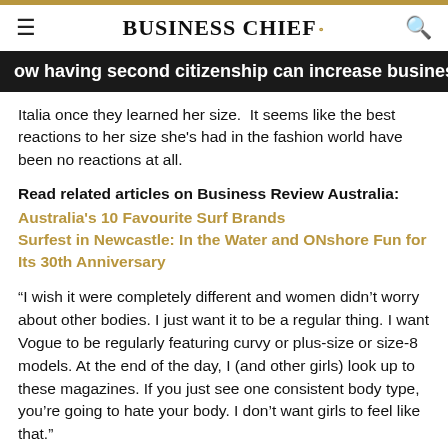BUSINESS CHIEF.
ow having second citizenship can increase business mobili
Italia once they learned her size.  It seems like the best reactions to her size she's had in the fashion world have been no reactions at all.
Read related articles on Business Review Australia:
Australia's 10 Favourite Surf Brands
Surfest in Newcastle: In the Water and ONshore Fun for Its 30th Anniversary
“I wish it were completely different and women didn’t worry about other bodies. I just want it to be a regular thing. I want Vogue to be regularly featuring curvy or plus-size or size-8 models. At the end of the day, I (and other girls) look up to these magazines. If you just see one consistent body type, you’re going to hate your body. I don’t want girls to feel like that.”